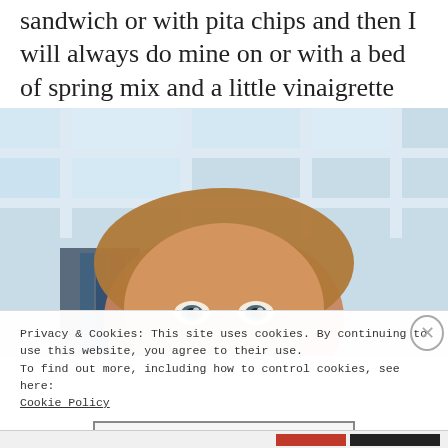sandwich or with pita chips and then I will always do mine on or with a bed of spring mix and a little vinaigrette drizzled on top.
[Figure (photo): Close-up photo of a young child with light brown wavy hair and blue-grey eyes, peering over something, with a bright windowed room in the background.]
Privacy & Cookies: This site uses cookies. By continuing to use this website, you agree to their use.
To find out more, including how to control cookies, see here:
Cookie Policy

Close and accept